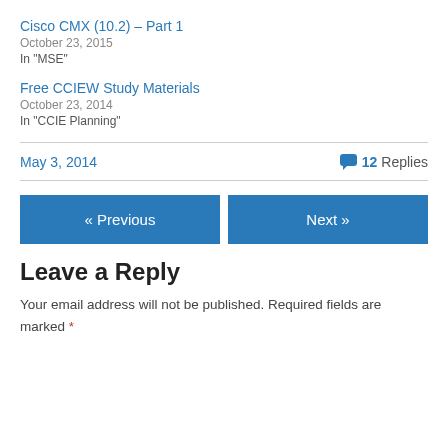Cisco CMX (10.2) – Part 1
October 23, 2015
In "MSE"
Free CCIEW Study Materials
October 23, 2014
In "CCIE Planning"
May 3, 2014
12 Replies
« Previous
Next »
Leave a Reply
Your email address will not be published. Required fields are marked *